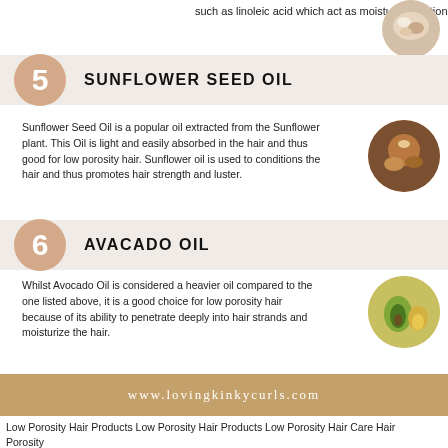such as linoleic acid which act as moisture retention agents.
[Figure (photo): Circular photo of seeds/grains]
5 SUNFLOWER SEED OIL
Sunflower Seed Oil is a popular oil extracted from the Sunflower plant. This Oil is light and easily absorbed in the hair and thus good for low porosity hair. Sunflower oil is used to conditions the hair and thus promotes hair strength and luster.
[Figure (photo): Circular photo of sunflower seeds and oil]
6 AVACADO OIL
Whilst Avocado Oil is considered a heavier oil compared to the one listed above, it is a good choice for low porosity hair because of its ability to penetrate deeply into hair strands and moisturize the hair.
[Figure (photo): Circular photo of avocado and oil]
www.lovingkinkycurls.com
Low Porosity Hair Products Low Porosity Hair Products Low Porosity Hair Care Hair Porosity